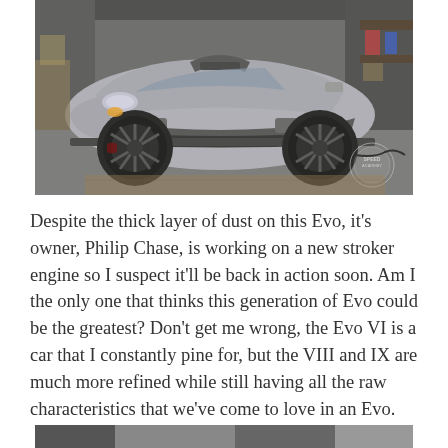[Figure (photo): A silver Mitsubishi Lancer Evolution (Evo VIII or IX) parked in a garage workshop. The car has a hood scoop, front bumper splitter, and dark multi-spoke wheels. The front bumper appears to be removed or partially detached. A Speed Academy watermark logo is visible in the lower right corner of the photo.]
Despite the thick layer of dust on this Evo, it's owner, Philip Chase, is working on a new stroker engine so I suspect it'll be back in action soon. Am I the only one that thinks this generation of Evo could be the greatest? Don't get me wrong, the Evo VI is a car that I constantly pine for, but the VIII and IX are much more refined while still having all the raw characteristics that we've come to love in an Evo.
[Figure (photo): Partial view of another photo at the bottom of the page, cropped.]